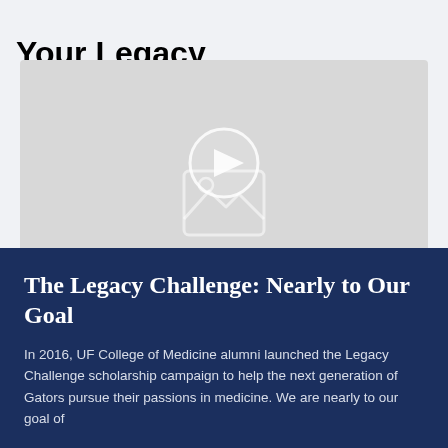Your Legacy
[Figure (screenshot): Video placeholder with a play button circle in the center and an image icon beneath it, on a light gray background.]
The Legacy Challenge: Nearly to Our Goal
In 2016, UF College of Medicine alumni launched the Legacy Challenge scholarship campaign to help the next generation of Gators pursue their passions in medicine. We are nearly to our goal of